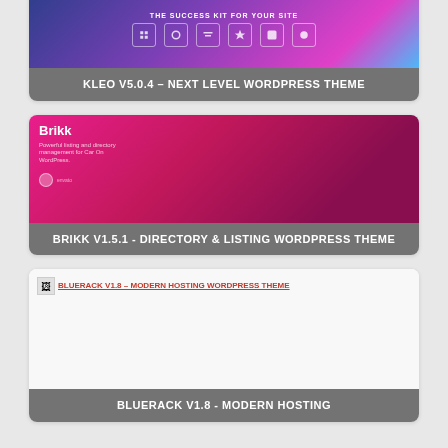[Figure (screenshot): KLEO V5.0.4 theme card with purple/blue gradient header and menu icons. Title overlay: KLEO V5.0.4 – NEXT LEVEL WORDPRESS THEME]
[Figure (screenshot): Brikk V1.5.1 theme card with pink/magenta gradient header showing Brikk brand. Title overlay: BRIKK V1.5.1 - DIRECTORY & LISTING WORDPRESS THEME]
[Figure (screenshot): Bluerack V1.8 theme card with broken image placeholder. Title overlay: BLUERACK V1.8 – MODERN HOSTING WORDPRESS THEME]